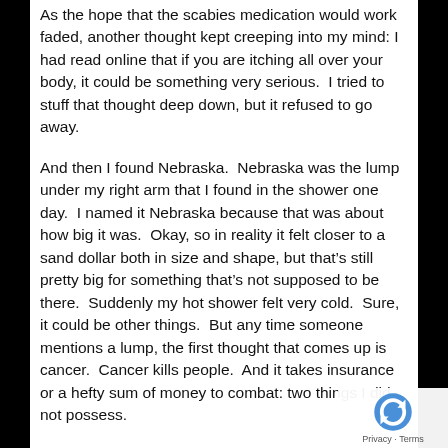As the hope that the scabies medication would work faded, another thought kept creeping into my mind: I had read online that if you are itching all over your body, it could be something very serious.  I tried to stuff that thought deep down, but it refused to go away.
And then I found Nebraska.  Nebraska was the lump under my right arm that I found in the shower one day.  I named it Nebraska because that was about how big it was.  Okay, so in reality it felt closer to a sand dollar both in size and shape, but that's still pretty big for something that's not supposed to be there.  Suddenly my hot shower felt very cold.  Sure, it could be other things.  But any time someone mentions a lump, the first thought that comes up is cancer.  Cancer kills people.  And it takes insurance or a hefty sum of money to combat: two things I did not possess.
Around this time I also started losing weight.  A lot of weight.  Like, probably 60 pounds.  About the time half
[Figure (other): reCAPTCHA logo overlay with Privacy and Terms links in bottom-right corner]